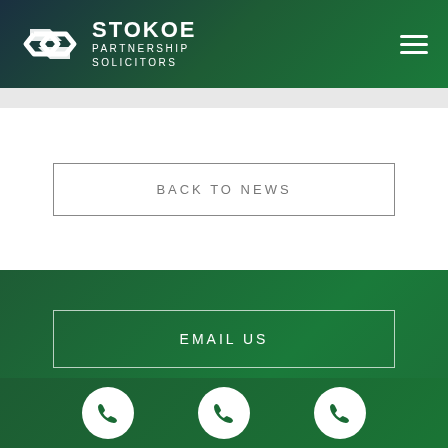[Figure (logo): Stokoe Partnership Solicitors logo with stylized S icon in white on dark green/teal gradient header, with hamburger menu icon top right]
BACK TO NEWS
EMAIL US
[Figure (other): Three white phone icons in circles on green gradient background]